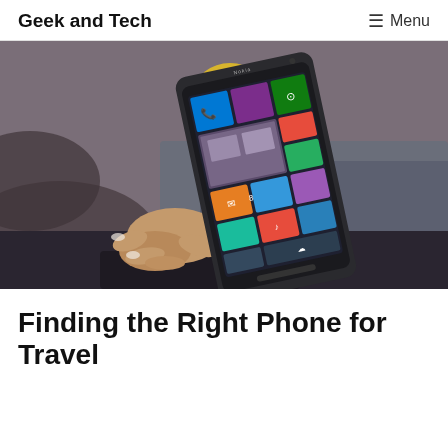Geek and Tech   ☰ Menu
[Figure (photo): Person holding a Nokia Windows Phone (large phablet) displaying the Windows Phone tile interface, sitting on what appears to be a bench outdoors. The phone shows colorful live tiles including photos, messaging, and app tiles.]
Finding the Right Phone for Travel